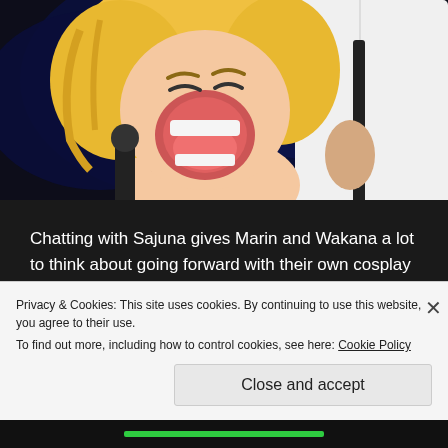[Figure (illustration): Anime illustration showing two characters: a blonde girl with her mouth open laughing/yelling, wearing a choker necklace, and another character in a white outfit. Dark blue background.]
Chatting with Sajuna gives Marin and Wakana a lot to think about going forward with their own cosplay photography venture. Wakana in particular really gets loud when he finds out how expensive cameras that don't even come with lenses can cost, which in turn causes Marin to burst out laughing, since Wakana is so rarely so loud!
Privacy & Cookies: This site uses cookies. By continuing to use this website, you agree to their use.
To find out more, including how to control cookies, see here: Cookie Policy
Close and accept